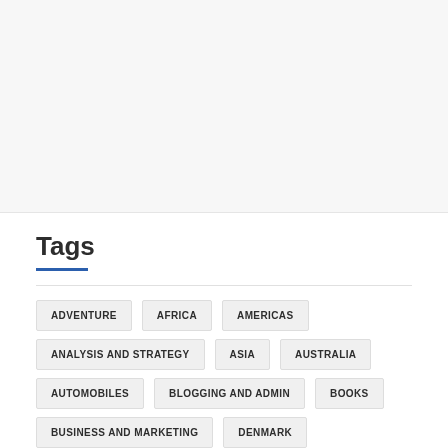Tags
ADVENTURE
AFRICA
AMERICAS
ANALYSIS AND STRATEGY
ASIA
AUSTRALIA
AUTOMOBILES
BLOGGING AND ADMIN
BOOKS
BUSINESS AND MARKETING
DENMARK